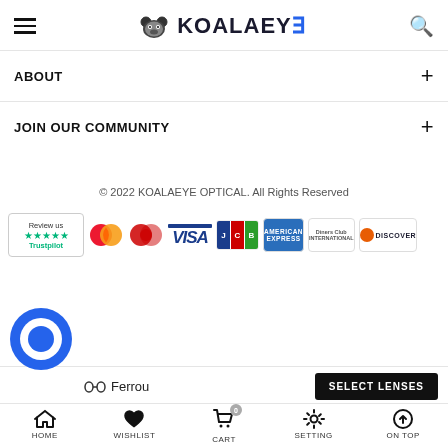KOALAEYE
ABOUT
JOIN OUR COMMUNITY
© 2022 KOALAEYE OPTICAL. All Rights Reserved
[Figure (logo): Payment methods row: Trustpilot review badge, Mastercard, Mastercard red/orange, VISA, JCB, American Express, Diners Club, Discover]
Ferrou
SELECT LENSES
HOME  WISHLIST  CART  SETTING  ON TOP